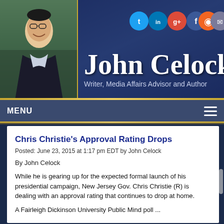[Figure (photo): Website header banner for John Celock with photo of a young man in a suit, dark blue background, name in large white serif font, subtitle 'Writer, Media Affairs Advisor and Author', and social media icons (Twitter, LinkedIn, Google+, Facebook, RSS, Email) in the top right.]
MENU
Chris Christie's Approval Rating Drops
Posted: June 23, 2015 at 1:17 pm EDT by John Celock
By John Celock
While he is gearing up for the expected formal launch of his presidential campaign, New Jersey Gov. Chris Christie (R) is dealing with an approval rating that continues to drop at home.
A Fairleigh Dickinson University Public Mind poll ...